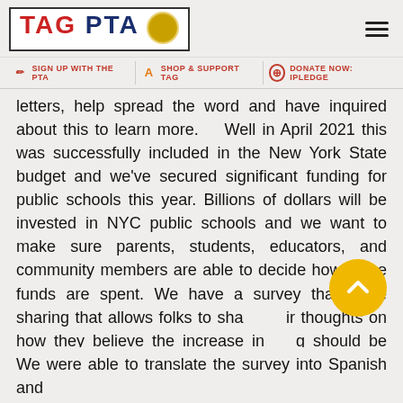[Figure (logo): TAG PTA logo with basketball icon in a bordered box]
Navigation bar: SIGN UP WITH THE PTA | SHOP & SUPPORT TAG | DONATE NOW: IPLEDGE
letters, help spread the word and have inquired about this to learn more.   Well in April 2021 this was successfully included in the New York State budget and we've secured significant funding for public schools this year. Billions of dollars will be invested in NYC public schools and we want to make sure parents, students, educators, and community members are able to decide how these funds are spent. We have a survey that we're sharing that allows folks to share their thoughts on how they believe the increase in funding should be prioritized.
We were able to translate the survey into Spanish and